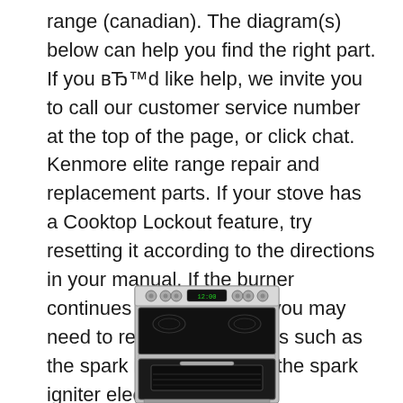range (canadian). The diagram(s) below can help you find the right part. If you'd like help, we invite you to call our customer service number at the top of the page, or click chat. Kenmore elite range repair and replacement parts. If your stove has a Cooktop Lockout feature, try resetting it according to the directions in your manual. If the burner continues to malfunction, you may need to replace range parts such as the spark igniter switch or the spark igniter electrode.
[Figure (photo): Photo of a Kenmore elite stainless steel electric range/stove with black glass cooktop, control panel with knobs and digital display, and visible oven interior through the glass door.]